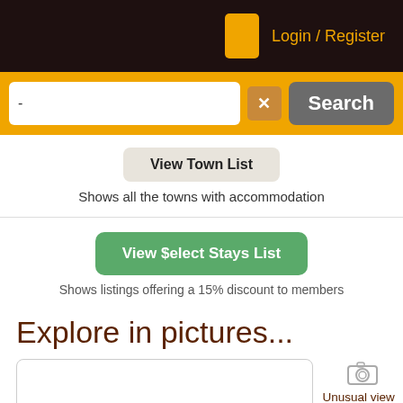Login / Register
[Figure (screenshot): Search bar with text input, x button, and Search button on orange background]
View Town List
Shows all the towns with accommodation
View Select Stays List
Shows listings offering a 15% discount to members
Explore in pictures...
Unusual view of the Big Hole or Kimberley Mine, in Kimberley